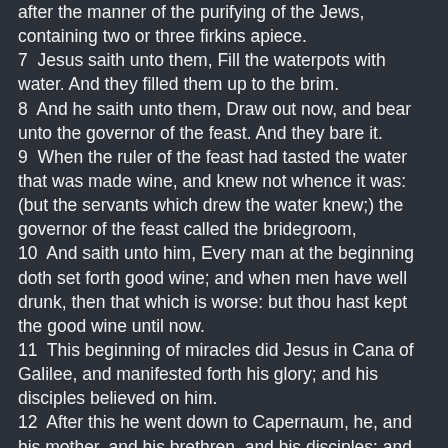after the manner of the purifying of the Jews, containing two or three firkins apiece. 7 Jesus saith unto them, Fill the waterpots with water. And they filled them up to the brim. 8 And he saith unto them, Draw out now, and bear unto the governor of the feast. And they bare it. 9 When the ruler of the feast had tasted the water that was made wine, and knew not whence it was: (but the servants which drew the water knew;) the governor of the feast called the bridegroom, 10 And saith unto him, Every man at the beginning doth set forth good wine; and when men have well drunk, then that which is worse: but thou hast kept the good wine until now. 11 This beginning of miracles did Jesus in Cana of Galilee, and manifested forth his glory; and his disciples believed on him. 12 After this he went down to Capernaum, he, and his mother, and his brethren, and his disciples: and they